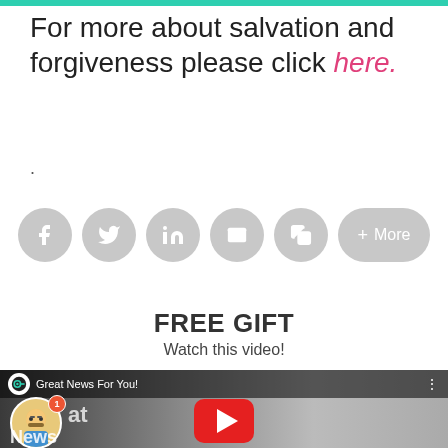For more about salvation and forgiveness please click here.
.
[Figure (infographic): Row of social share buttons: Facebook, Twitter, LinkedIn, Email, Copy, and a More button, all in grey circular/pill shapes]
FREE GIFT
Watch this video!
[Figure (screenshot): YouTube video thumbnail showing 'Great News For You!' with a woman looking up and a red YouTube play button in the center]